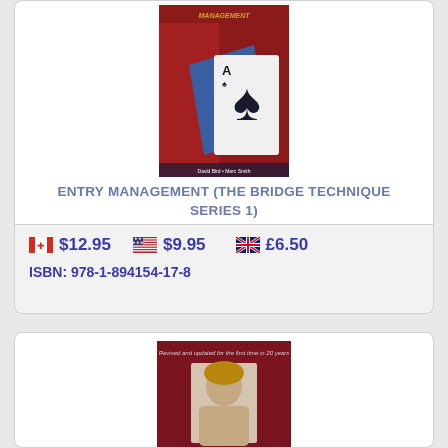[Figure (photo): Book cover for Entry Management (The Bridge Technique Series 1) by David Bird and Marc Smith, showing playing cards including the Ace of Spades]
ENTRY MANAGEMENT (THE BRIDGE TECHNIQUE SERIES 1)
David Bird & Marc Smith
🇨🇦 $12.95   🇺🇸 $9.95   🇬🇧 £6.50
ISBN: 978-1-894154-17-8
[Figure (photo): Second book cover, partially visible, dark red with a portrait photo of a person and italic text at the top]